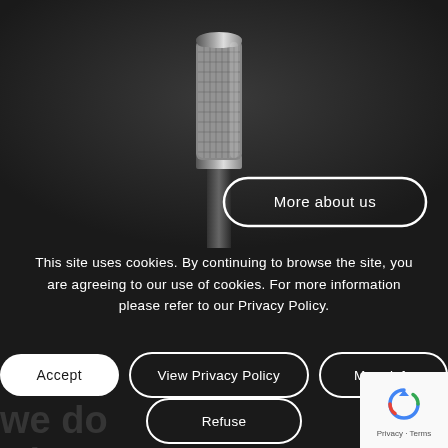[Figure (photo): Close-up photo of a silver condenser microphone head against a dark background]
More about us
This site uses cookies. By continuing to browse the site, you are agreeing to our use of cookies. For more information please refer to our Privacy Policy.
Accept
View Privacy Policy
More info
Refuse
[Figure (logo): Google reCAPTCHA badge with spinning arrow icon and Privacy - Terms text]